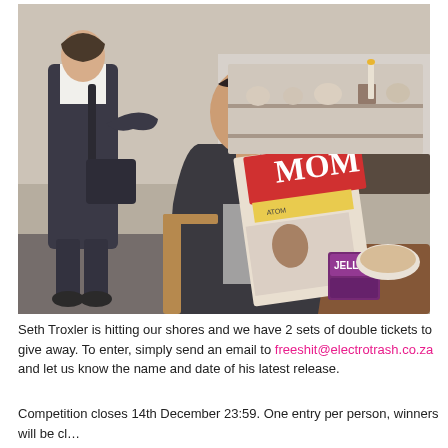[Figure (photo): A young man with dreadlocks sitting at a cafe table reading a magazine with 'MOM' on the cover. A woman in overalls stands in the background near a display counter. A Jell-O box and a plate with food are on the table.]
Seth Troxler is hitting our shores and we have 2 sets of double tickets to give away. To enter, simply send an email to freeshit@electrotrash.co.za and let us know the name and date of his latest release.
Competition closes 14th December 23:59. One entry per person, winners will be cl...